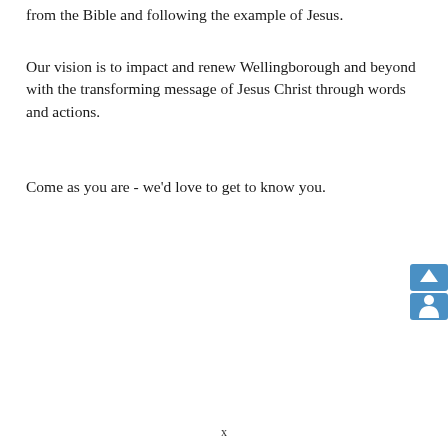from the Bible and following the example of Jesus.
Our vision is to impact and renew Wellingborough and beyond with the transforming message of Jesus Christ through words and actions.
Come as you are - we'd love to get to know you.
[Figure (other): Blue share/navigation icon button in the bottom right corner]
x